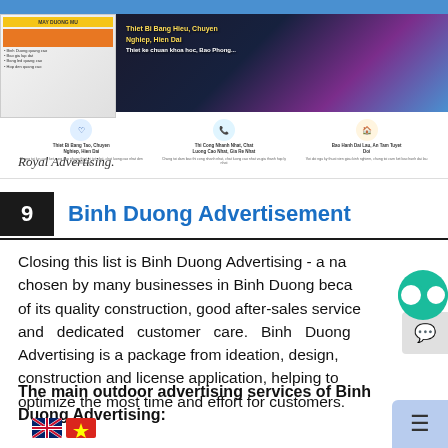[Figure (screenshot): Screenshot of Royal Advertising website showing browser interface with banner ads and service icons]
Royal Advertising.
9   Binh Duong Advertisement
Closing this list is Binh Duong Advertising - a name chosen by many businesses in Binh Duong because of its quality construction, good after-sales service and dedicated customer care. Binh Duong Advertising is a package from ideation, design, construction and license application, helping to optimize the most time and effort for customers.
The main outdoor advertising services of Binh Duong Advertising: